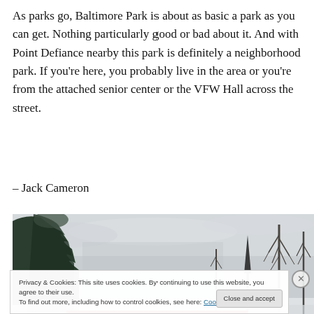As parks go, Baltimore Park is about as basic a park as you can get. Nothing particularly good or bad about it. And with Point Defiance nearby this park is definitely a neighborhood park. If you're here, you probably live in the area or you're from the attached senior center or the VFW Hall across the street.
– Jack Cameron
[Figure (photo): Winter landscape photograph showing snow-covered evergreen trees on the left and bare deciduous trees against a grey overcast sky.]
Privacy & Cookies: This site uses cookies. By continuing to use this website, you agree to their use.
To find out more, including how to control cookies, see here: Cookie Policy